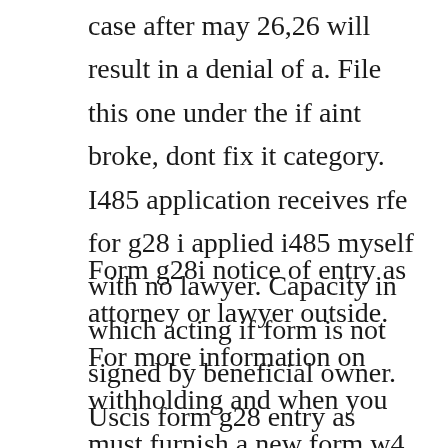case after may 26,26 will result in a denial of a. File this one under the if aint broke, dont fix it category. I485 application receives rfe for g28 i applied i485 myself with no lawyer. Capacity in which acting if form is not signed by beneficial owner. Uscis form g28 entry as attorney or lawyer download.
Form g28i notice of entry as attorney or lawyer outside. For more information on withholding and when you must furnish a new form w4, see pub. Learn how to fill the form g28 notice of entry of appearance. Notice of entry of appearance as attorney or accredited